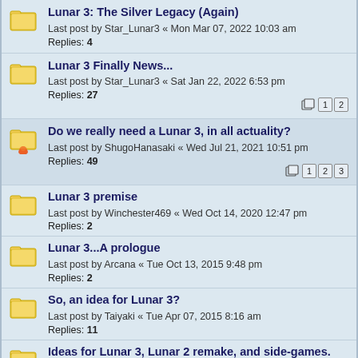Lunar 3: The Silver Legacy (Again)
Last post by Star_Lunar3 « Mon Mar 07, 2022 10:03 am
Replies: 4
Lunar 3 Finally News...
Last post by Star_Lunar3 « Sat Jan 22, 2022 6:53 pm
Replies: 27
Do we really need a Lunar 3, in all actuality?
Last post by ShugoHanasaki « Wed Jul 21, 2021 10:51 pm
Replies: 49
Lunar 3 premise
Last post by Winchester469 « Wed Oct 14, 2020 12:47 pm
Replies: 2
Lunar 3...A prologue
Last post by Arcana « Tue Oct 13, 2015 9:48 pm
Replies: 2
So, an idea for Lunar 3?
Last post by Taiyaki « Tue Apr 07, 2015 8:16 am
Replies: 11
Ideas for Lunar 3, Lunar 2 remake, and side-games.
Last post by Leo « Fri Sep 20, 2013 4:13 am
Replies: 8
What I would like the next NEW Lunar game to be about.
Last post by Shiroryuu « Mon Jun 25, 2012 10:41 pm
Replies: 49